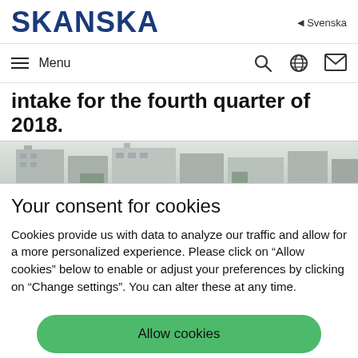SKANSKA
Svenska
Menu
intake for the fourth quarter of 2018.
[Figure (photo): Partial view of a modern building exterior with architectural details, shown as a horizontal image strip]
Your consent for cookies
Cookies provide us with data to analyze our traffic and allow for a more personalized experience. Please click on “Allow cookies” below to enable or adjust your preferences by clicking on “Change settings”. You can alter these at any time.
Allow cookies